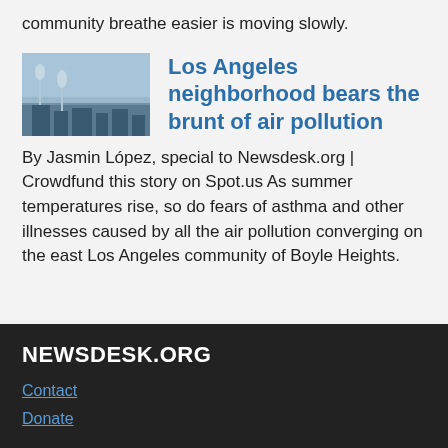community breathe easier is moving slowly.
[Figure (photo): Aerial or landscape photograph of an industrial or urban area, likely related to air pollution in Los Angeles]
Los Angeles neighborhood bears the brunt of air pollution
By Jasmin López, special to Newsdesk.org | Crowdfund this story on Spot.us As summer temperatures rise, so do fears of asthma and other illnesses caused by all the air pollution converging on the east Los Angeles community of Boyle Heights.
NEWSDESK.ORG
Contact
Donate